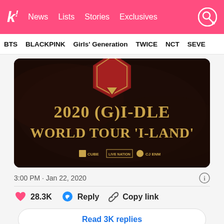k! News Lists Stories Exclusives
BTS  BLACKPINK  Girls' Generation  TWICE  NCT  SEVE
[Figure (photo): 2020 (G)I-DLE World Tour 'I-LAND' promotional poster on dark background with red shield emblem, CUBE, Live Nation, and CJ ENM logos]
3:00 PM · Jan 22, 2020
❤ 28.3K  💬 Reply  🔗 Copy link
Read 3K replies